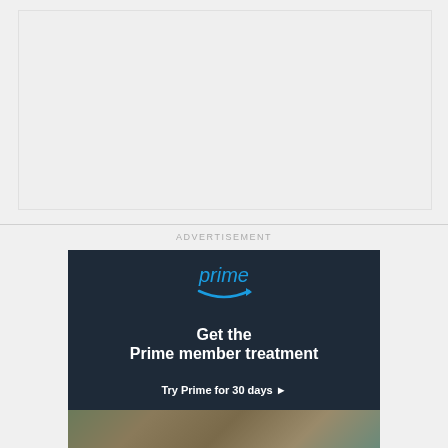[Figure (other): Large light gray placeholder/blank content area at the top of the page]
ADVERTISEMENT
[Figure (infographic): Amazon Prime advertisement with dark navy background. Shows 'prime' logo in blue with arrow/smile icon, headline text 'Get the Prime member treatment', subtext 'Try Prime for 30 days ▸', and a product image strip at the bottom.]